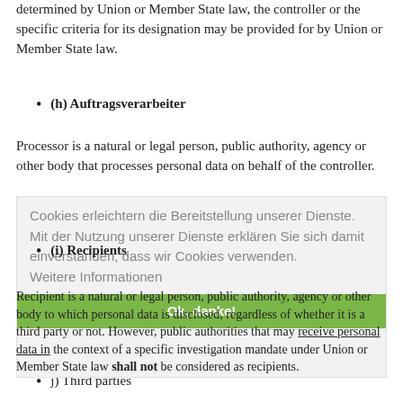determined by Union or Member State law, the controller or the specific criteria for its designation may be provided for by Union or Member State law.
(h) Auftragsverarbeiter
Processor is a natural or legal person, public authority, agency or other body that processes personal data on behalf of the controller.
(i) Recipients
Recipient is a natural or legal person, public authority, agency or other body to which personal data is disclosed, regardless of whether it is a third party or not. However, public authorities that may receive personal data in the context of a specific investigation mandate under Union or Member State law shall not be considered as recipients.
j) Third parties